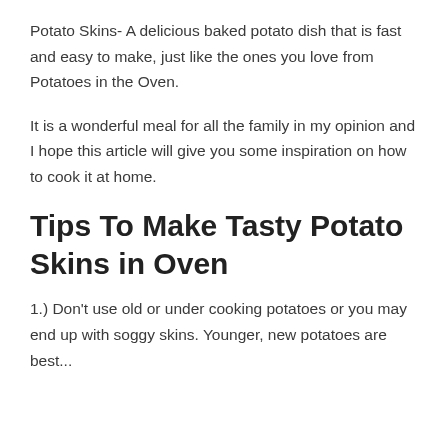Potato Skins- A delicious baked potato dish that is fast and easy to make, just like the ones you love from Potatoes in the Oven.
It is a wonderful meal for all the family in my opinion and I hope this article will give you some inspiration on how to cook it at home.
Tips To Make Tasty Potato Skins in Oven
1.) Don't use old or under cooking potatoes or you may end up with soggy skins. Younger, new potatoes are best...